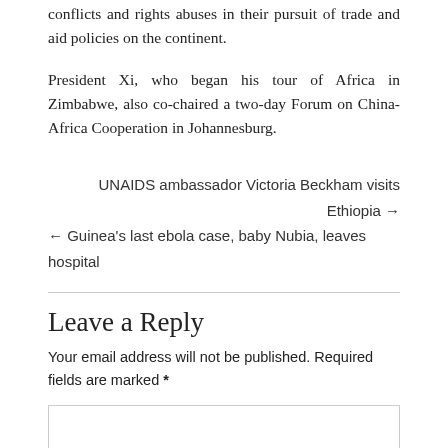conflicts and rights abuses in their pursuit of trade and aid policies on the continent.
President Xi, who began his tour of Africa in Zimbabwe, also co-chaired a two-day Forum on China-Africa Cooperation in Johannesburg.
UNAIDS ambassador Victoria Beckham visits Ethiopia →
← Guinea's last ebola case, baby Nubia, leaves hospital
Leave a Reply
Your email address will not be published. Required fields are marked *